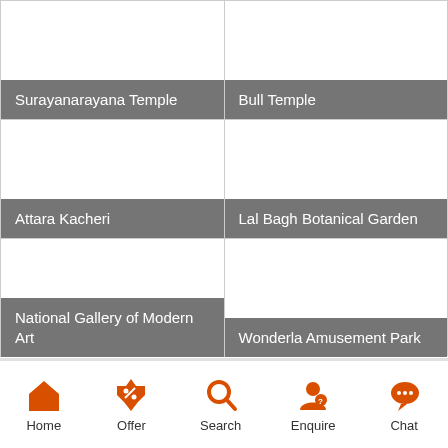[Figure (screenshot): Grid of 4 tourist attraction cards: Surayanarayana Temple, Bull Temple, Attara Kacheri, Lal Bagh Botanical Garden, National Gallery of Modern Art, Wonderla Amusement Park]
Home | Offer | Search | Enquire | Chat